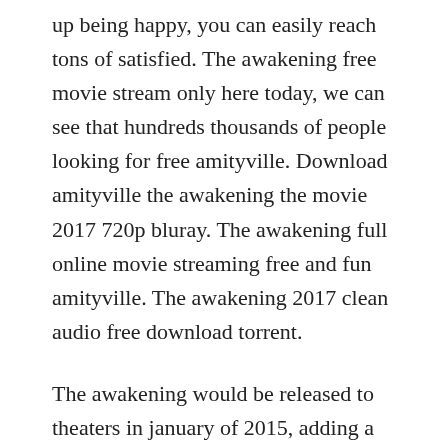up being happy, you can easily reach tons of satisfied. The awakening free movie stream only here today, we can see that hundreds thousands of people looking for free amityville. Download amityville the awakening the movie 2017 720p bluray. The awakening full online movie streaming free and fun amityville. The awakening 2017 clean audio free download torrent.
The awakening would be released to theaters in january of 2015, adding a tenth film to the official series not counting half a dozen